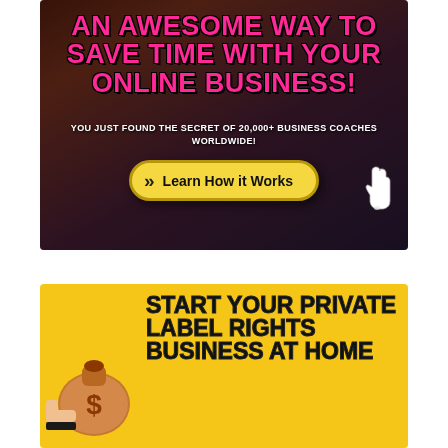[Figure (infographic): Dark background banner ad with pink bold headline 'AN AWESOME WAY TO SAVE TIME WITH YOUR ONLINE BUSINESS!', white subheading 'YOU JUST FOUND THE SECRET OF 20,000+ BUSINESS COACHES WORLDWIDE!', and a yellow rounded button 'Learn How it Works' with a cursor icon pointing at it.]
[Figure (infographic): Yellow background banner ad with a money bag illustration on the left and bold black text 'START YOUR PRIVATE LABEL RIGHTS BUSINESS AT HOME' on the right.]